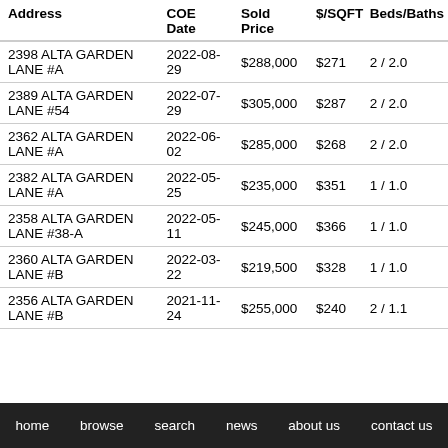| Address | COE Date | Sold Price | $/SQFT | Beds/Baths |
| --- | --- | --- | --- | --- |
| 2398 ALTA GARDEN LANE #A | 2022-08-29 | $288,000 | $271 | 2 / 2.0 |
| 2389 ALTA GARDEN LANE #54 | 2022-07-29 | $305,000 | $287 | 2 / 2.0 |
| 2362 ALTA GARDEN LANE #A | 2022-06-02 | $285,000 | $268 | 2 / 2.0 |
| 2382 ALTA GARDEN LANE #A | 2022-05-25 | $235,000 | $351 | 1 / 1.0 |
| 2358 ALTA GARDEN LANE #38-A | 2022-05-11 | $245,000 | $366 | 1 / 1.0 |
| 2360 ALTA GARDEN LANE #B | 2022-03-22 | $219,500 | $328 | 1 / 1.0 |
| 2356 ALTA GARDEN LANE #B | 2021-11-24 | $255,000 | $240 | 2 / 1.1 |
home   browse   search   news   about us   contact us